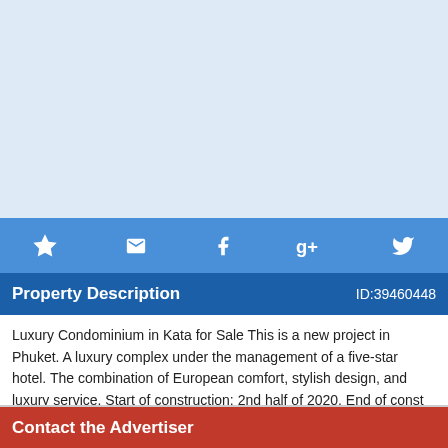[Figure (photo): Light blue placeholder image area for property photo]
[Figure (infographic): Social sharing bar with star/favorite, email, Facebook, Google+, and Twitter icons in white on blue background]
Property Description  ID:39460448
Luxury Condominium in Kata for Sale This is a new project in Phuket. A luxury complex under the management of a five-star hotel. The combination of European comfort, stylish design, and luxury service. Start of construction: 2nd half of 2020. End of const
Contact the Advertiser